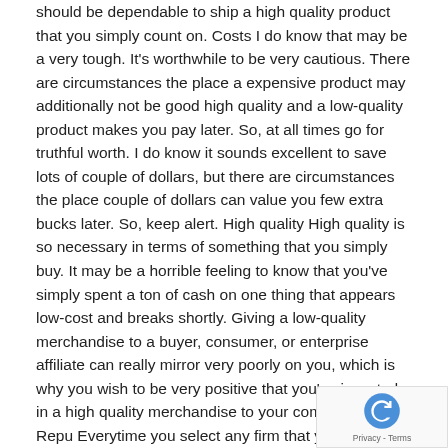should be dependable to ship a high quality product that you simply count on. Costs I do know that may be a very tough. It's worthwhile to be very cautious. There are circumstances the place a expensive product may additionally not be good high quality and a low-quality product makes you pay later. So, at all times go for truthful worth. I do know it sounds excellent to save lots of couple of dollars, but there are circumstances the place couple of dollars can value you few extra bucks later. So, keep alert. High quality High quality is so necessary in terms of something that you simply buy. It may be a horrible feeling to know that you've simply spent a ton of cash on one thing that appears low-cost and breaks shortly. Giving a low-quality merchandise to a buyer, consumer, or enterprise affiliate can really mirror very poorly on you, which is why you wish to be very positive that you've invested in a high quality merchandise to your company reward. Repu Everytime you select any firm that you will spend ca you wish to make sure that they've a fantastic status. An
[Figure (other): reCAPTCHA badge overlay with logo and Privacy - Terms text]